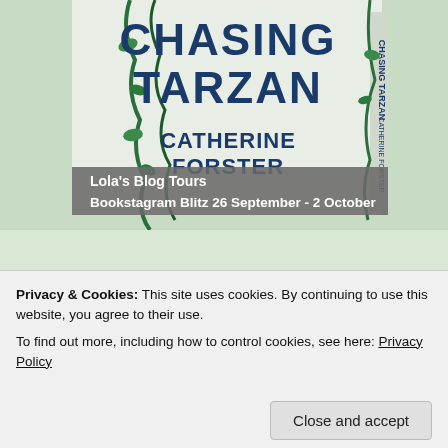[Figure (illustration): Book cover and spine for 'Chasing Tarzan' by Catherine Forster, with green vine decorations on light background. Banner text: 'Lola's Blog Tours Bookstagram Blitz 26 September - 2 October']
[Figure (illustration): Book cover for 'Beneath the Smiling' by Belinda Lara Robinson, red background with stylized text and small circular badge with book thumbnail]
Privacy & Cookies: This site uses cookies. By continuing to use this website, you agree to their use.
To find out more, including how to control cookies, see here: Privacy Policy
Close and accept